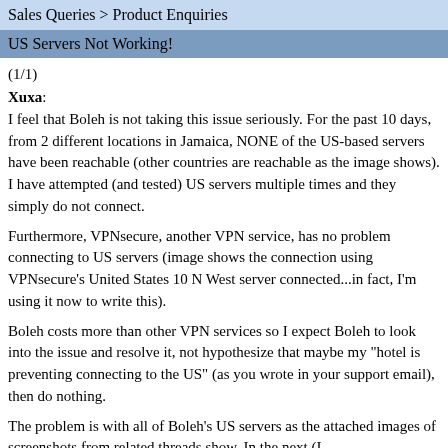Sales Queries > Product Enquiries
US Servers Not Working!
(1/1)
Xuxa: I feel that Boleh is not taking this issue seriously. For the past 10 days, from 2 different locations in Jamaica, NONE of the US-based servers have been reachable (other countries are reachable as the image shows). I have attempted (and tested) US servers multiple times and they simply do not connect.

Furthermore, VPNsecure, another VPN service, has no problem connecting to US servers (image shows the connection using VPNsecure's United States 10 N West server connected...in fact, I'm using it now to write this).

Boleh costs more than other VPN services so I expect Boleh to look into the issue and resolve it, not hypothesize that maybe my "hotel is preventing connecting to the US" (as you wrote in your support email), then do nothing.

The problem is with all of Boleh's US servers as the attached images of screenshots from related threads show. In the next (I...